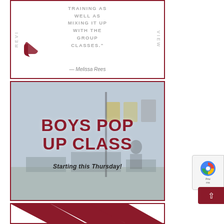[Figure (infographic): Review card with white background and dark red border. Contains sideways 'REVIEW' text on both left and right sides in gray. Quote text in uppercase gray letters reads 'TRAINING AS WELL AS MIXING IT UP WITH THE GROUP CLASSES.' with a dark red closing quotation mark graphic. Attribution reads '— Melissa Rees' in italic.]
[Figure (photo): Promotional image for 'BOYS POP UP CLASS' with text overlay on a faded photo of a gym/Pilates studio with equipment and people. Bold dark red uppercase text reads 'BOYS POP UP CLASS' with subtitle 'Starting this Thursday!' in italic dark text.]
[Figure (infographic): Partial bottom card visible showing dark red chevron/arrow shapes, cut off at bottom of page.]